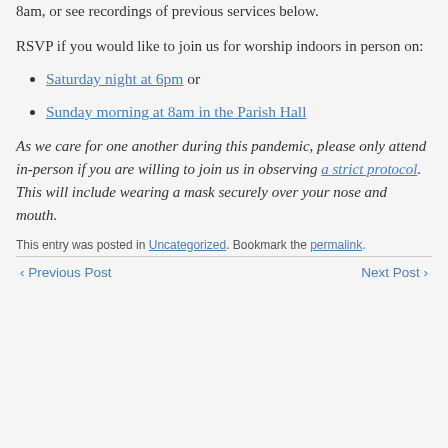8am, or see recordings of previous services below.
RSVP if you would like to join us for worship indoors in person on:
Saturday night at 6pm or
Sunday morning at 8am in the Parish Hall
As we care for one another during this pandemic, please only attend in-person if you are willing to join us in observing a strict protocol. This will include wearing a mask securely over your nose and mouth.
This entry was posted in Uncategorized. Bookmark the permalink.
Previous Post   Next Post